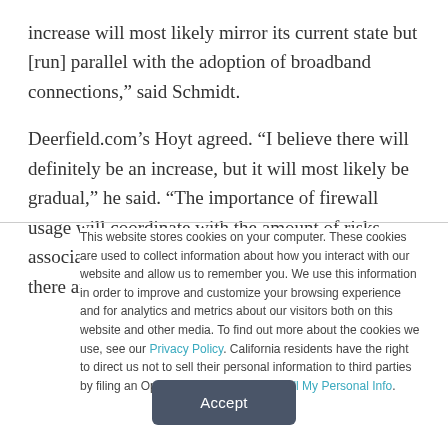increase will most likely mirror its current state but [run] parallel with the adoption of broadband connections," said Schmidt.
Deerfield.com's Hoyt agreed. “I believe there will definitely be an increase, but it will most likely be gradual,” he said. “The importance of firewall usage will coordinate with the amount of risks associated with Internet connectivity. And since there are
This website stores cookies on your computer. These cookies are used to collect information about how you interact with our website and allow us to remember you. We use this information in order to improve and customize your browsing experience and for analytics and metrics about our visitors both on this website and other media. To find out more about the cookies we use, see our Privacy Policy. California residents have the right to direct us not to sell their personal information to third parties by filing an Opt-Out Request: Do Not Sell My Personal Info.
Accept